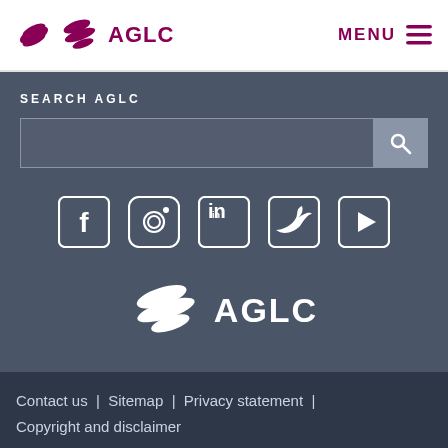AGLC | MENU
SEARCH AGLC
[Figure (logo): AGLC logo centered with social media icons: Facebook, Instagram, LinkedIn, Twitter, YouTube]
Contact us | Sitemap | Privacy statement | Copyright and disclaimer